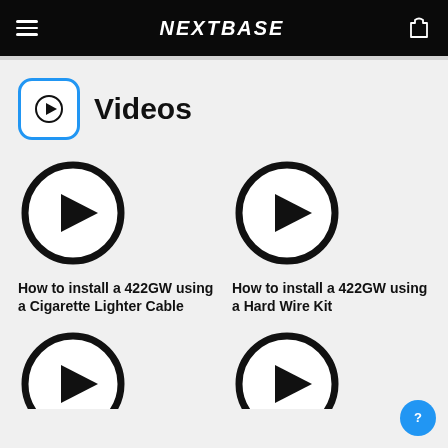NEXTBASE navigation header
Videos
[Figure (illustration): Play button icon in rounded square with blue border]
[Figure (illustration): Large play button circle icon for video thumbnail]
How to install a 422GW using a Cigarette Lighter Cable
[Figure (illustration): Large play button circle icon for video thumbnail]
How to install a 422GW using a Hard Wire Kit
[Figure (illustration): Large play button circle icon for video thumbnail (partially visible)]
[Figure (illustration): Large play button circle icon for video thumbnail (partially visible)]